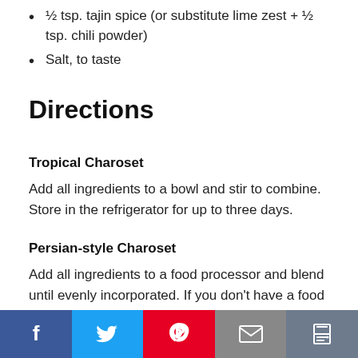½ tsp. tajin spice (or substitute lime zest + ½ tsp. chili powder)
Salt, to taste
Directions
Tropical Charoset
Add all ingredients to a bowl and stir to combine. Store in the refrigerator for up to three days.
Persian-style Charoset
Add all ingredients to a food processor and blend until evenly incorporated. If you don't have a food processor, you can chop all the ingredients finely and